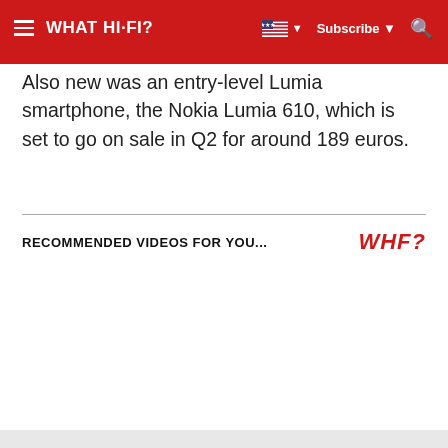WHAT HI-FI? — Subscribe
Also new was an entry-level Lumia smartphone, the Nokia Lumia 610, which is set to go on sale in Q2 for around 189 euros.
RECOMMENDED VIDEOS FOR YOU...